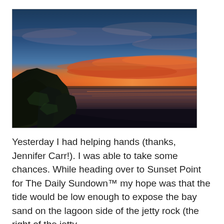[Figure (photo): A dramatic sunset photograph taken from a rocky jetty. The sky transitions from deep blue at the top to vivid orange and red streaks near the horizon. The calm bay water reflects the orange glow. Dark silhouetted rocks line the left side of the image.]
Yesterday I had helping hands (thanks, Jennifer Carr!). I was able to take some chances. While heading over to Sunset Point for The Daily Sundown™ my hope was that the tide would be low enough to expose the bay sand on the lagoon side of the jetty rock (the right of the jetty